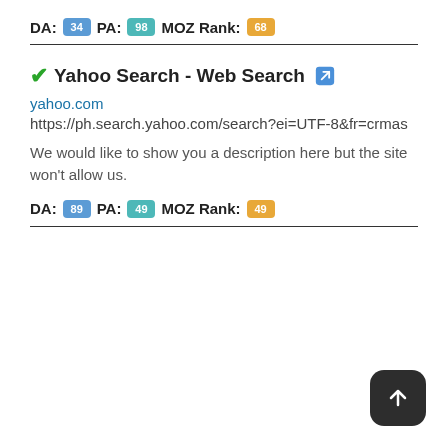DA: 34  PA: 98  MOZ Rank: 68
✓Yahoo Search - Web Search 🔗
yahoo.com
https://ph.search.yahoo.com/search?ei=UTF-8&fr=crmas
We would like to show you a description here but the site won't allow us.
DA: 89  PA: 49  MOZ Rank: 49